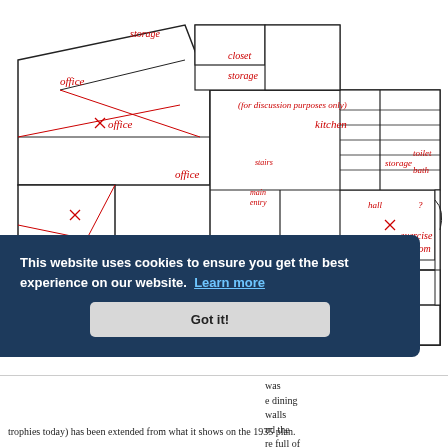[Figure (engineering-diagram): Floor plan of Prinzregentenplatz 16, 2013, showing rooms labeled in red italic text: storage, closet, storage, office (x3), training room, trophy room, office (x2), exercise room, kitchen, stairs, main entry, hall, storage, toilet, bath, and a note '(for discussion purposes only)'. The plan shows a multi-room building with angled walls.]
This website uses cookies to ensure you get the best experience on our website. Learn more
Got it!
was e dining walls nd the re full of
trophies today) has been extended from what it shows on the 1935 plan.